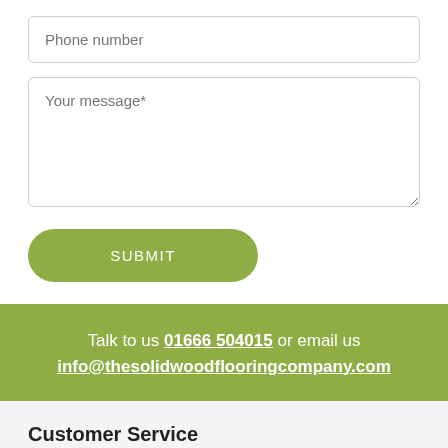Phone number
Your message*
SUBMIT
Talk to us 01666 504015 or email us info@thesolidwoodflooringcompany.com
Customer Service
Warehouse & Deliveries